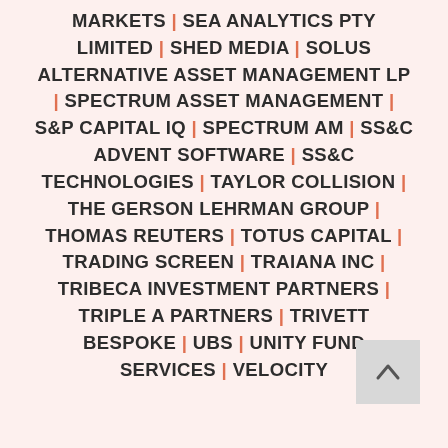MARKETS | SEA ANALYTICS PTY LIMITED | SHED MEDIA | SOLUS ALTERNATIVE ASSET MANAGEMENT LP | SPECTRUM ASSET MANAGEMENT | S&P CAPITAL IQ | SPECTRUM AM | SS&C ADVENT SOFTWARE | SS&C TECHNOLOGIES | TAYLOR COLLISION | THE GERSON LEHRMAN GROUP | THOMAS REUTERS | TOTUS CAPITAL | TRADING SCREEN | TRAIANA INC | TRIBECA INVESTMENT PARTNERS | TRIPLE A PARTNERS | TRIVETT BESPOKE | UBS | UNITY FUND SERVICES | VELOCITY